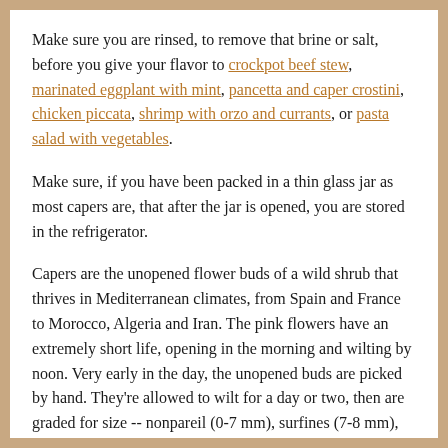Make sure you are rinsed, to remove that brine or salt, before you give your flavor to crockpot beef stew, marinated eggplant with mint, pancetta and caper crostini, chicken piccata, shrimp with orzo and currants, or pasta salad with vegetables.
Make sure, if you have been packed in a thin glass jar as most capers are, that after the jar is opened, you are stored in the refrigerator.
Capers are the unopened flower buds of a wild shrub that thrives in Mediterranean climates, from Spain and France to Morocco, Algeria and Iran. The pink flowers have an extremely short life, opening in the morning and wilting by noon. Very early in the day, the unopened buds are picked by hand. They're allowed to wilt for a day or two, then are graded for size -- nonpareil (0-7 mm), surfines (7-8 mm),